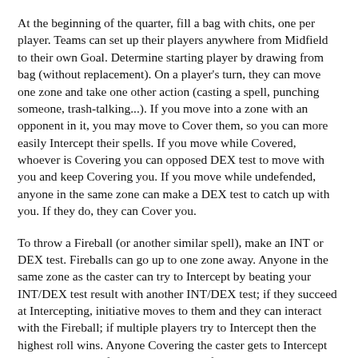At the beginning of the quarter, fill a bag with chits, one per player. Teams can set up their players anywhere from Midfield to their own Goal. Determine starting player by drawing from bag (without replacement). On a player's turn, they can move one zone and take one other action (casting a spell, punching someone, trash-talking...). If you move into a zone with an opponent in it, you may move to Cover them, so you can more easily Intercept their spells. If you move while Covered, whoever is Covering you can opposed DEX test to move with you and keep Covering you. If you move while undefended, anyone in the same zone can make a DEX test to catch up with you. If they do, they can Cover you.
To throw a Fireball (or another similar spell), make an INT or DEX test. Fireballs can go up to one zone away. Anyone in the same zone as the caster can try to Intercept by beating your INT/DEX test result with another INT/DEX test; if they succeed at Intercepting, initiative moves to them and they can interact with the Fireball; if multiple players try to Intercept then the highest roll wins. Anyone Covering the caster gets to Intercept as well, and goes first no matter what if they succeed.
If you can handle a Fireball with your bare hands (with a